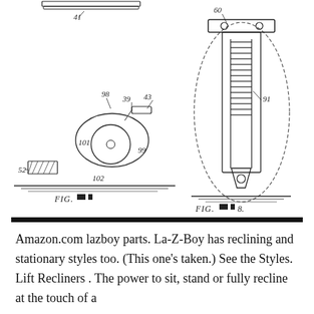[Figure (engineering-diagram): Patent engineering diagrams showing mechanical components. Left diagram (lower): A mechanical wheel/roller assembly with labeled parts including 98, 39, 43, 101, 99, 52, 102, with 'FIG.' label below. Right diagram: A ratchet or locking mechanism shown in side view with labeled parts including 60, 91, and 'FIG. 8.' label below. Top left: partial view of a flat mechanism labeled 41.]
Amazon.com lazboy parts. La-Z-Boy has reclining and stationary styles too. (This one's taken.) See the Styles. Lift Recliners . The power to sit, stand or fully recline at the touch of a